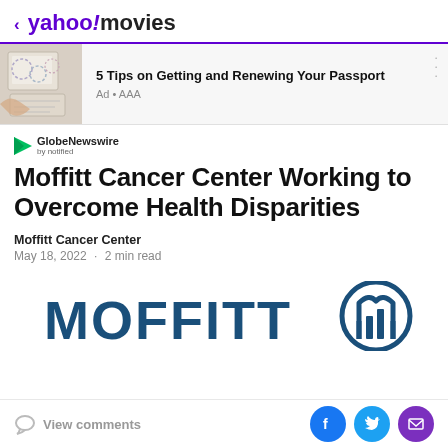< yahoo! movies
[Figure (screenshot): Advertisement banner: passport image on left, '5 Tips on Getting and Renewing Your Passport' text on right, Ad • AAA label below]
[Figure (logo): GlobeNewswire by notified logo with green play button triangle]
Moffitt Cancer Center Working to Overcome Health Disparities
Moffitt Cancer Center
May 18, 2022  ·  2 min read
[Figure (logo): MOFFITT logo in dark blue capital letters with circular M icon]
View comments  [Facebook] [Twitter] [Email]